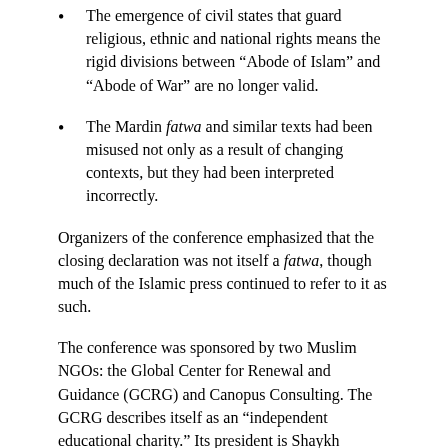The emergence of civil states that guard religious, ethnic and national rights means the rigid divisions between “Abode of Islam” and “Abode of War” are no longer valid.
The Mardin fatwa and similar texts had been misused not only as a result of changing contexts, but they had been interpreted incorrectly.
Organizers of the conference emphasized that the closing declaration was not itself a fatwa, though much of the Islamic press continued to refer to it as such.
The conference was sponsored by two Muslim NGOs: the Global Center for Renewal and Guidance (GCRG) and Canopus Consulting. The GCRG describes itself as an “independent educational charity.” Its president is Shaykh Abdullah bin Bayyah, a well-known Mauritanian scholar of Islam who teaches at King Abdul Aziz University in Saudi Arabia. The GCRG vice-president is Shaykh Hamza Yusuf